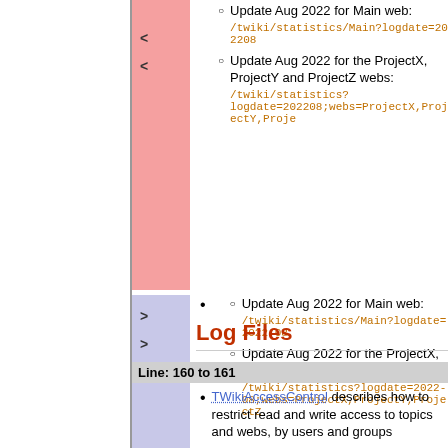Update Aug 2022 for Main web: /twiki/statistics/Main?logdate=202208
Update Aug 2022 for the ProjectX, ProjectY and ProjectZ webs: /twiki/statistics?logdate=202208;webs=ProjectX,ProjectY,ProjectZ
Update Aug 2022 for Main web: /twiki/statistics/Main?logdate=2022-08
Update Aug 2022 for the ProjectX, ProjectY and ProjectZ webs: /twiki/statistics?logdate=2022-08;webs=ProjectX,ProjectY,ProjectZ
Log Files
Line: 160 to 161
TWikiAccessControl describes how to restrict read and write access to topics and webs, by users and groups
SitePermissions lists the permissions settings of the webs on this TWiki site